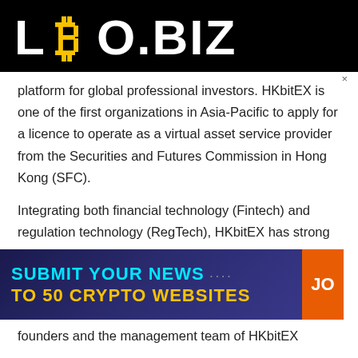LBO.BIZ
platform for global professional investors. HKbitEX is one of the first organizations in Asia-Pacific to apply for a licence to operate as a virtual asset service provider from the Securities and Futures Commission in Hong Kong (SFC).
Integrating both financial technology (Fintech) and regulation technology (RegTech), HKbitEX has strong capabilities in tracking and interpreting regulatory policies for digital assets. The team also
[Figure (infographic): Advertisement banner: dark blue/purple gradient background with text 'SUBMIT YOUR NEWS TO 50 CRYPTO WEBSITES' in cyan and yellow, with an orange 'JO' button on the right and an X close button.]
founders and the management team of HKbitEX